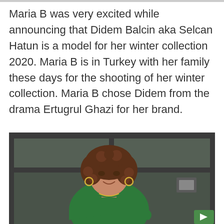Maria B was very excited while announcing that Didem Balcin aka Selcan Hatun is a model for her winter collection 2020. Maria B is in Turkey with her family these days for the shooting of her winter collection. Maria B chose Didem from the drama Ertugrul Ghazi for her brand.
[Figure (photo): A woman with curly brown hair wearing a green turtleneck sweater and a necklace, sitting with arms crossed in front of a metal-framed glass wall background. She is smiling at the camera.]